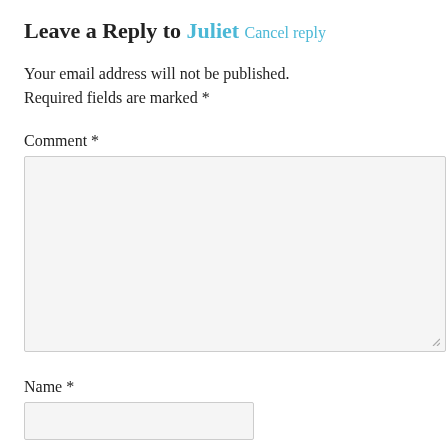Leave a Reply to Juliet Cancel reply
Your email address will not be published. Required fields are marked *
Comment *
[Figure (other): Comment textarea input box with resize handle, background light gray]
Name *
[Figure (other): Name text input box, background light gray]